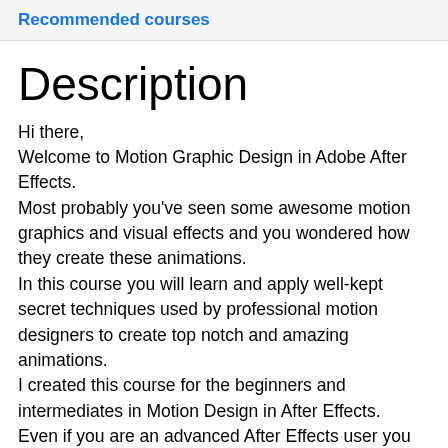Recommended courses
Description
Hi there,
Welcome to Motion Graphic Design in Adobe After Effects.
Most probably you've seen some awesome motion graphics and visual effects and you wondered how they create these animations.
In this course you will learn and apply well-kept secret techniques used by professional motion designers to create top notch and amazing animations.
I created this course for the beginners and intermediates in Motion Design in After Effects.
Even if you are an advanced After Effects user you could benefit a lot from this course.
In Fact, whatever your skills level, I promise you, the motion